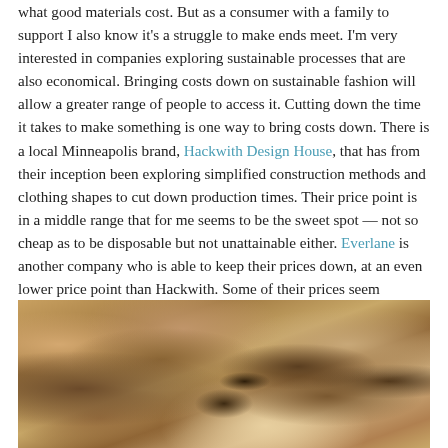what good materials cost. But as a consumer with a family to support I also know it's a struggle to make ends meet. I'm very interested in companies exploring sustainable processes that are also economical. Bringing costs down on sustainable fashion will allow a greater range of people to access it. Cutting down the time it takes to make something is one way to bring costs down. There is a local Minneapolis brand, Hackwith Design House, that has from their inception been exploring simplified construction methods and clothing shapes to cut down production times. Their price point is in a middle range that for me seems to be the sweet spot — not so cheap as to be disposable but not unattainable either. Everlane is another company who is able to keep their prices down, at an even lower price point than Hackwith. Some of their prices seem questionably low. I love the brand but am curious to see what happens as they grow and need to support an ever larger company.
[Figure (photo): Close-up photo of rough, sandy-brown textured stone or rock surface with porous holes and lighter mineral deposits visible.]